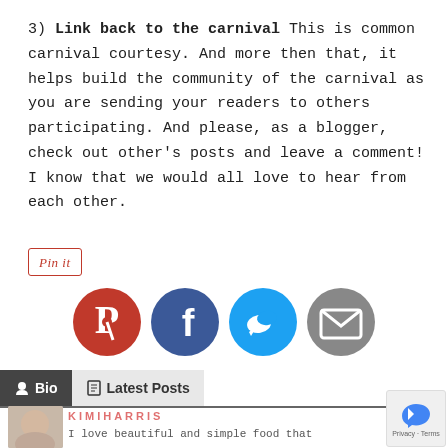3) Link back to the carnival This is common carnival courtesy. And more then that, it helps build the community of the carnival as you are sending your readers to others participating. And please, as a blogger, check out other's posts and leave a comment! I know that we would all love to hear from each other.
[Figure (other): Pin It button with red border and cursive text]
[Figure (other): Social sharing icons: Pinterest (red), Facebook (dark blue), Twitter (light blue), Email (gray)]
[Figure (other): Bio and Latest Posts tab bar with Bio tab selected in dark background]
KIMIHARRIS
I love beautiful and simple food that